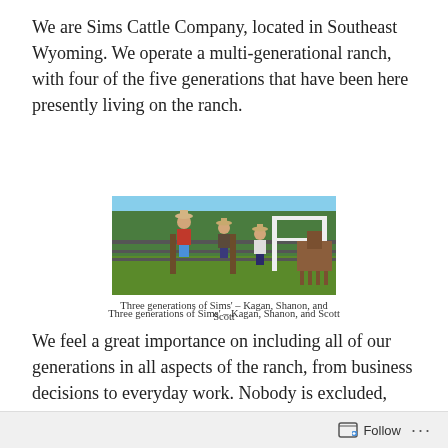We are Sims Cattle Company, located in Southeast Wyoming. We operate a multi-generational ranch, with four of the five generations that have been here presently living on the ranch.
[Figure (photo): Three people wearing cowboy hats sitting and leaning on a ranch fence with a horse visible on the right side and green trees in the background.]
Three generations of Sims' – Kagan, Shanon, and Scott
We feel a great importance on including all of our generations in all aspects of the ranch, from business decisions to everyday work. Nobody is excluded, from the youngest (age 8) to the oldest (age 84). Our ultimate goal is to create a
Follow ...